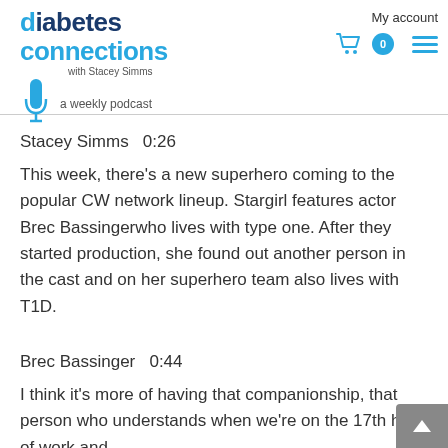[Figure (logo): Diabetes Connections with Stacey Simms - a weekly podcast logo with microphone icon]
My account
Stacey Simms  0:26
This week, there’s a new superhero coming to the popular CW network lineup. Stargirl features actor Brec Bassingerwho lives with type one. After they started production, she found out another person in the cast and on her superhero team also lives with T1D.
Brec Bassinger  0:44
I think it’s more of having that companionship, that person who understands when we’re on the 17th hour of work and